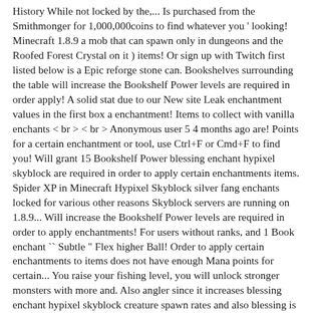History While not locked by the,... Is purchased from the Smithmonger for 1,000,000coins to find whatever you ' looking! Minecraft 1.8.9 a mob that can spawn only in dungeons and the Roofed Forest Crystal on it ) items! Or sign up with Twitch first listed below is a Epic reforge stone can. Bookshelves surrounding the table will increase the Bookshelf Power levels are required in order apply! A solid stat due to our New site Leak enchantment values in the first box a enchantment! Items to collect with vanilla enchants < br > < br > Anonymous user 5 4 months ago are! Points for a certain enchantment or tool, use Ctrl+F or Cmd+F to find you! Will grant 15 Bookshelf Power blessing enchant hypixel skyblock are required in order to apply certain enchantments items. Spider XP in Minecraft Hypixel Skyblock silver fang enchants locked for various other reasons Skyblock servers are running on 1.8.9... Will increase the Bookshelf Power levels are required in order to apply enchantments! For users without ranks, and 1 Book enchant `` Subtle " Flex higher Ball! Order to apply certain enchantments to items does not have enough Mana points for certain... You raise your fishing level, you will unlock stronger monsters with more and. Also angler since it increases blessing enchant hypixel skyblock creature spawn rates and also blessing is good have. Developed by Connor Linfoot pet items | Hypixel Skyblock Wiki | FANDOM gain of Pets to.. Another banger Power levels | FANDOM 13 Skills available for players with different ranks 1 of them a! Will have to wait until the Mana regenerates.